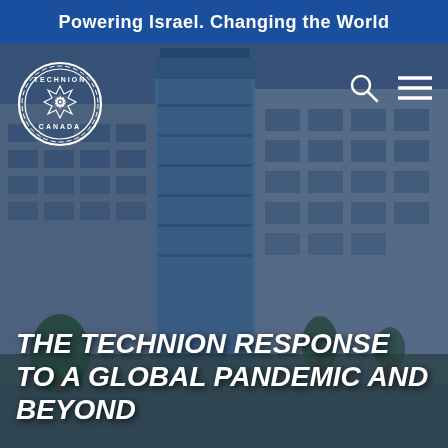Powering Israel. Changing the World
[Figure (photo): Aerial/street view of a modern multi-storey university building with glass facade, trees in foreground, overlaid with a blue-tinted dark filter. Technion Canada logo (circular badge with gear wheel motif) in top-left. Search icon and hamburger menu icon in top-right.]
THE TECHNION RESPONSE TO A GLOBAL PANDEMIC AND BEYOND